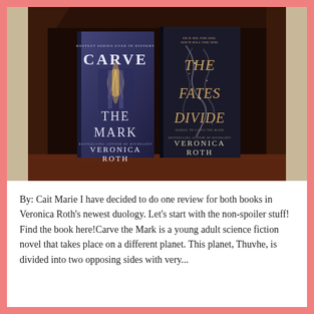[Figure (photo): Two books displayed on a dark wooden shelf/box: 'Carve the Mark' by Veronica Roth (left) and 'The Fates Divide' by Veronica Roth (right). Both have dark blue/black covers with stylized lettering.]
By: Cait Marie I have decided to do one review for both books in Veronica Roth's newest duology. Let's start with the non-spoiler stuff! Find the book here!Carve the Mark is a young adult science fiction novel that takes place on a different planet. This planet, Thuvhe, is divided into two opposing sides with very...